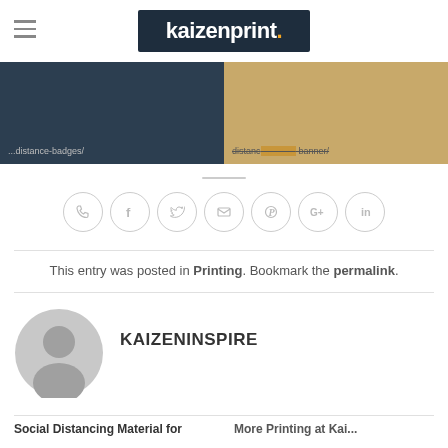kaizenprint.
[Figure (photo): Two images side by side: left shows dark background with URL text about distance badges, right shows a light brown/beige background with URL text about distancing roller banner]
[Figure (infographic): Row of 7 circular social sharing icons: phone, facebook, twitter, email, pinterest, google+, linkedin]
This entry was posted in Printing. Bookmark the permalink.
[Figure (photo): Generic grey avatar/profile placeholder icon]
KAIZENINSPIRE
Social Distancing Material for
More Printing at Kai...